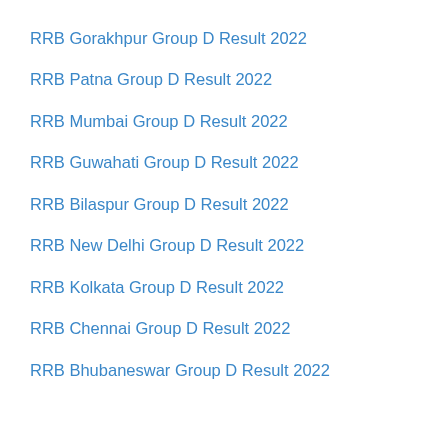RRB Gorakhpur Group D Result 2022
RRB Patna Group D Result 2022
RRB Mumbai Group D Result 2022
RRB Guwahati Group D Result 2022
RRB Bilaspur Group D Result 2022
RRB New Delhi Group D Result 2022
RRB Kolkata Group D Result 2022
RRB Chennai Group D Result 2022
RRB Bhubaneswar Group D Result 2022